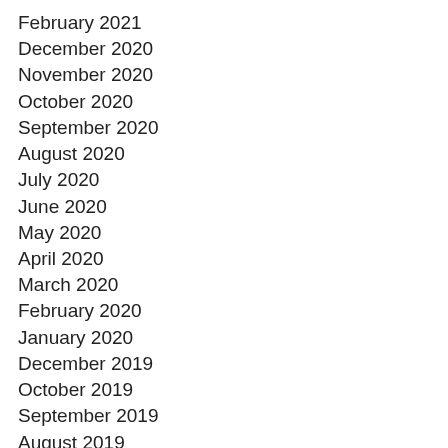February 2021
December 2020
November 2020
October 2020
September 2020
August 2020
July 2020
June 2020
May 2020
April 2020
March 2020
February 2020
January 2020
December 2019
October 2019
September 2019
August 2019
July 2019
June 2019
May 2019